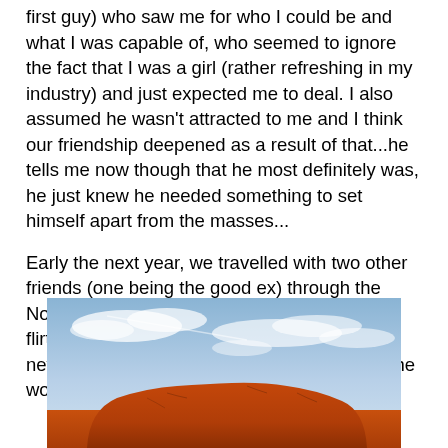first guy) who saw me for who I could be and what I was capable of, who seemed to ignore the fact that I was a girl (rather refreshing in my industry) and just expected me to deal. I also assumed he wasn't attracted to me and I think our friendship deepened as a result of that...he tells me now though that he most definitely was, he just knew he needed something to set himself apart from the masses...
Early the next year, we travelled with two other friends (one being the good ex) through the Northern Territory for two weeks. I know that I flirted with him terribly during that time, yet I never felt that it mattered much, I didn't think he would be into a girl like me.
[Figure (photo): Photograph of Uluru (Ayers Rock) in Australia's Northern Territory, showing the large red sandstone rock formation at the bottom with a wide blue sky with clouds above.]